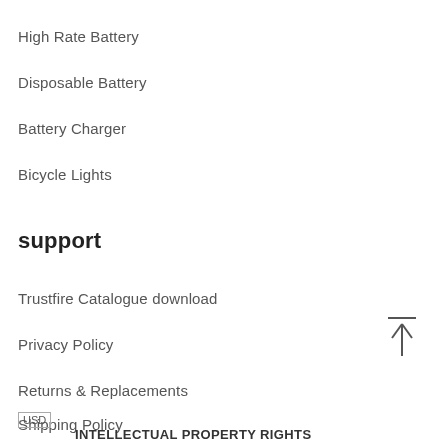High Rate Battery
Disposable Battery
Battery Charger
Bicycle Lights
support
Trustfire Catalogue download
Privacy Policy
Returns & Replacements
Shipping Policy
USD
INTELLECTUAL PROPERTY RIGHTS